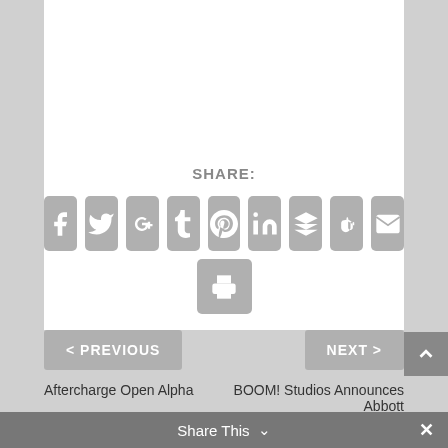SHARE:
[Figure (other): Row of social sharing icon buttons: Facebook, Twitter, Google+, Tumblr, Pinterest, LinkedIn, Buffer, StumbleUpon, Email, and a Print button below]
< PREVIOUS
NEXT >
Aftercharge Open Alpha
BOOM! Studios Announces Abbott
Share This  ∨   ✕